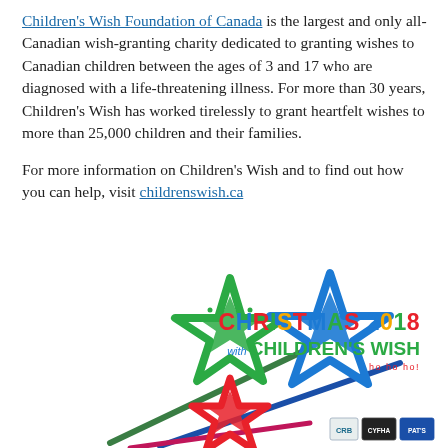Children's Wish Foundation of Canada is the largest and only all-Canadian wish-granting charity dedicated to granting wishes to Canadian children between the ages of 3 and 17 who are diagnosed with a life-threatening illness. For more than 30 years, Children's Wish has worked tirelessly to grant heartfelt wishes to more than 25,000 children and their families.

For more information on Children's Wish and to find out how you can help, visit childrenswish.ca
[Figure (illustration): Three star-shaped wands made of colorful beads (green, blue, red) with metallic wands, overlapping each other. To the right is text reading 'CHRISTMAS 2018 with CHILDREN'S WISH' in multicolored letters. Bottom right shows small logos including what appears to be CRB, CYFHA, and PAT'S logos.]